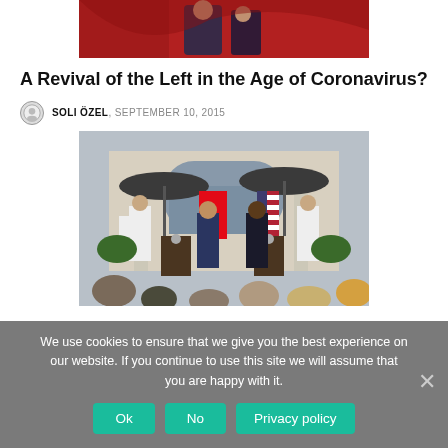[Figure (photo): Partial photo of two people at an event, with red background, cropped at top]
A Revival of the Left in the Age of Coronavirus?
SOLI ÖZEL, SEPTEMBER 10, 2015
[Figure (photo): Outdoor press conference with two men at podiums under umbrellas held by Marines, with Turkish and American flags, White House Rose Garden setting]
Questionable U-Turn
We use cookies to ensure that we give you the best experience on our website. If you continue to use this site we will assume that you are happy with it.